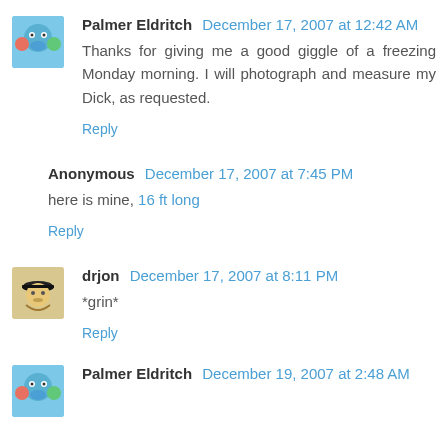Palmer Eldritch December 17, 2007 at 12:42 AM
Thanks for giving me a good giggle of a freezing Monday morning. I will photograph and measure my Dick, as requested.
Reply
Anonymous December 17, 2007 at 7:45 PM
here is mine, 16 ft long
Reply
drjon December 17, 2007 at 8:11 PM
*grin*
Reply
Palmer Eldritch December 19, 2007 at 2:48 AM